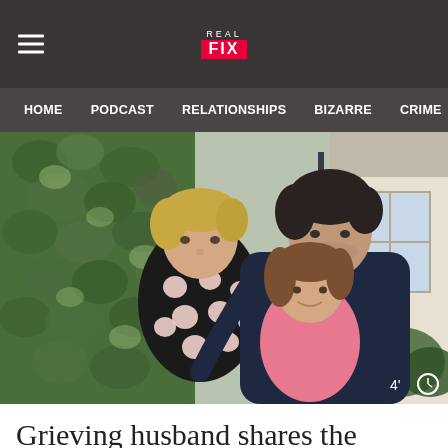REAL FIX
HOME   PODCAST   RELATIONSHIPS   BIZARRE   CRIME   H
[Figure (photo): A man with dark hair in a navy sweater hugs two females — a woman with short blonde hair wearing a black and white polka dot top, and a young girl in a pink top — in front of an ivy-covered wall and a white-windowed house. A timer icon and '4'' appear in the bottom right corner.]
Grieving husband shares the